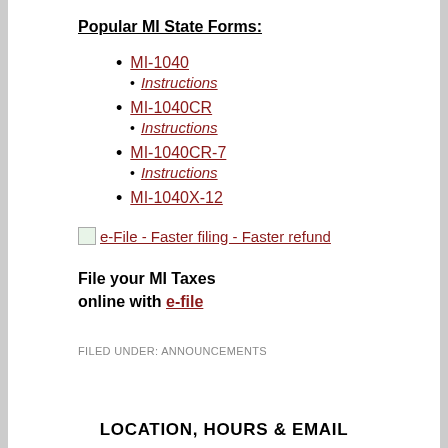Popular MI State Forms:
MI-1040
Instructions
MI-1040CR
Instructions
MI-1040CR-7
Instructions
MI-1040X-12
[Figure (other): e-File banner image with text link: e-File - Faster filing - Faster refund]
File your MI Taxes online with e-file
FILED UNDER: ANNOUNCEMENTS
LOCATION, HOURS & EMAIL